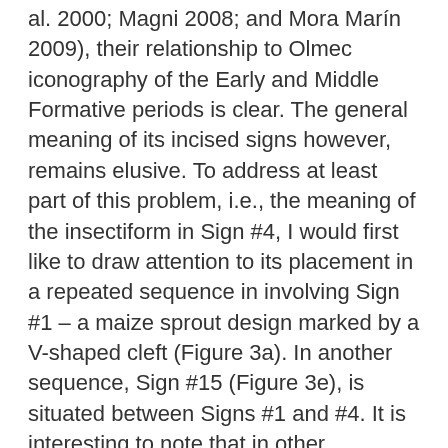al. 2000; Magni 2008; and Mora Marín 2009), their relationship to Olmec iconography of the Early and Middle Formative periods is clear. The general meaning of its incised signs however, remains elusive. To address at least part of this problem, i.e., the meaning of the insectiform in Sign #4, I would first like to draw attention to its placement in a repeated sequence in involving Sign #1 – a maize sprout design marked by a V-shaped cleft (Figure 3a). In another sequence, Sign #15 (Figure 3e), is situated between Signs #1 and #4. It is interesting to note that in other examples of Olmec-style art, such as a series of jade celts from nearby Río Pesquero (Figure 4), Sign #1 is often used to symbolize sprouting maize, and is frequently affiliated with representations of an axis mundi through the